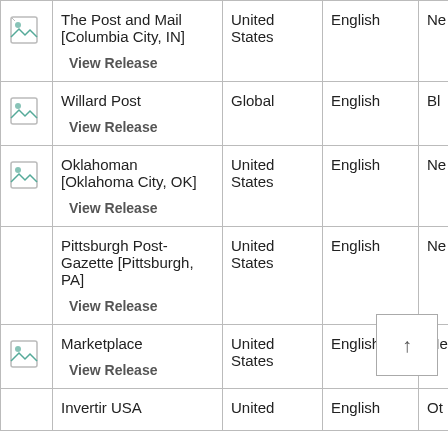|  | Publication | Region | Language | Type |
| --- | --- | --- | --- | --- |
| [icon] | The Post and Mail [Columbia City, IN]
View Release | United States | English | Ne |
| [icon] | Willard Post
View Release | Global | English | Bl |
| [icon] | Oklahoman [Oklahoma City, OK]
View Release | United States | English | Ne |
|  | Pittsburgh Post-Gazette [Pittsburgh, PA]
View Release | United States | English | Ne |
| [icon] | Marketplace
View Release | United States | English | Me |
|  | Invertir USA | United | English | Ot |